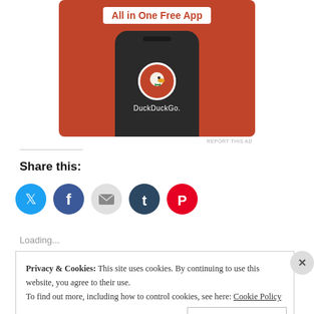[Figure (advertisement): DuckDuckGo mobile app advertisement on orange background with phone graphic and 'All in One Free App' text]
REPORT THIS AD
Share this:
[Figure (infographic): Social share buttons: Twitter, Facebook, Email, Tumblr, Pinterest]
Loading...
Privacy & Cookies: This site uses cookies. By continuing to use this website, you agree to their use.
To find out more, including how to control cookies, see here: Cookie Policy